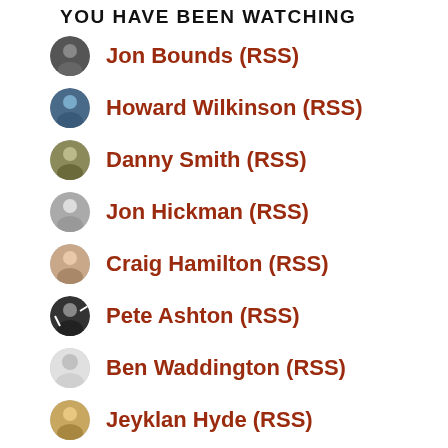YOU HAVE BEEN WATCHING
Jon Bounds (RSS)
Howard Wilkinson (RSS)
Danny Smith (RSS)
Jon Hickman (RSS)
Craig Hamilton (RSS)
Pete Ashton (RSS)
Ben Waddington (RSS)
Jeyklan Hyde (RSS)
Julia Gilbert (RSS)